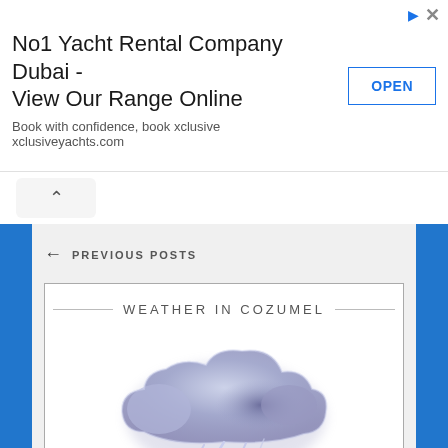[Figure (screenshot): Advertisement banner: No1 Yacht Rental Company Dubai - View Our Range Online. Book with confidence, book xclusive xclusiveyachts.com. OPEN button on the right.]
PREVIOUS POSTS
WEATHER IN COZUMEL
[Figure (illustration): Thunderstorm cloud icon with lightning bolts in blue-purple/lavender colors on white background.]